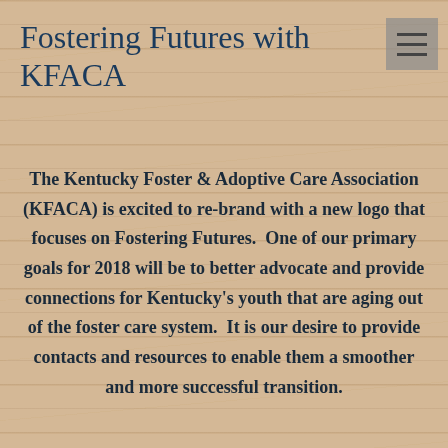Fostering Futures with KFACA
The Kentucky Foster & Adoptive Care Association (KFACA) is excited to re-brand with a new logo that focuses on Fostering Futures.  One of our primary goals for 2018 will be to better advocate and provide connections for Kentucky's youth that are aging out of the foster care system.  It is our desire to provide contacts and resources to enable them a smoother and more successful transition.